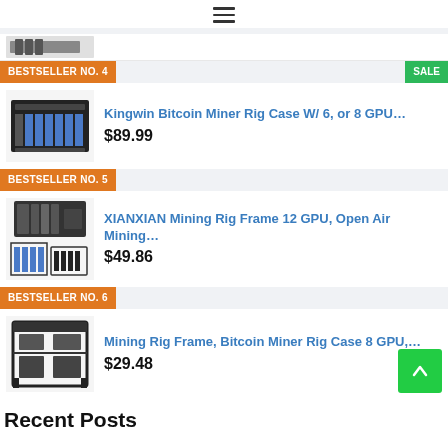≡ (hamburger menu icon)
BESTSELLER NO. 4
SALE
Kingwin Bitcoin Miner Rig Case W/ 6, or 8 GPU...
$89.99
BESTSELLER NO. 5
XIANXIAN Mining Rig Frame 12 GPU, Open Air Mining...
$49.86
BESTSELLER NO. 6
Mining Rig Frame, Bitcoin Miner Rig Case 8 GPU,...
$29.48
Recent Posts